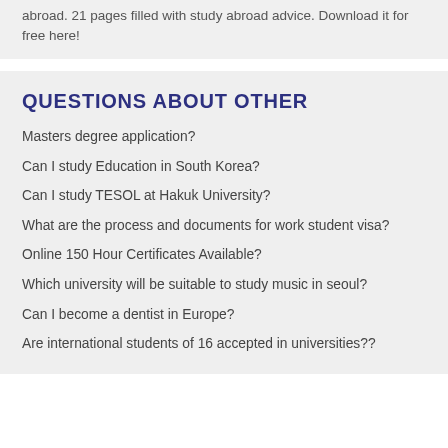abroad. 21 pages filled with study abroad advice. Download it for free here!
QUESTIONS ABOUT OTHER
Masters degree application?
Can I study Education in South Korea?
Can I study TESOL at Hakuk University?
What are the process and documents for work student visa?
Online 150 Hour Certificates Available?
Which university will be suitable to study music in seoul?
Can I become a dentist in Europe?
Are international students of 16 accepted in universities??